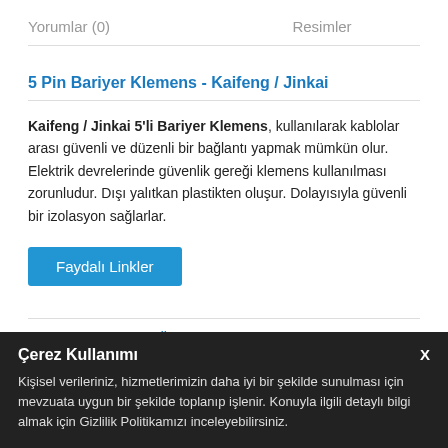Yorumlar (0)    Resimler
5 Pin Bariyer Klemens - Kaifeng / Jinkai
Kaifeng / Jinkai 5'li Bariyer Klemens, kullanılarak kablolar arası güvenli ve düzenli bir bağlantı yapmak mümkün olur. Elektrik devrelerinde güvenlik gereği klemens kullanılması zorunludur. Dışı yalıtkan plastikten oluşur. Dolayısıyla güvenli bir izolasyon sağlarlar.
Faydalı Linkler
Bariyer Klemens Ürünlerimizi inceleyebilirsiniz.
Bariyer Klemens Çeşitlerimizi inceleyebilirsiniz
Çerez Kullanımı
Kişisel verileriniz, hizmetlerimizin daha iyi bir şekilde sunulması için mevzuata uygun bir şekilde toplanıp işlenir. Konuyla ilgili detaylı bilgi almak için Gizlilik Politikamızı inceleyebilirsiniz.